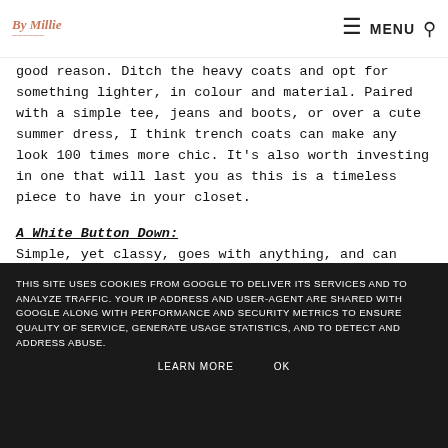By Millie | MENU
good reason. Ditch the heavy coats and opt for something lighter, in colour and material. Paired with a simple tee, jeans and boots, or over a cute summer dress, I think trench coats can make any look 100 times more chic. It's also worth investing in one that will last you as this is a timeless piece to have in your closet.
A White Button Down:
Simple, yet classy, goes with anything, and can make an outfit seem more put together and like you really tried. These can be worn for work or out for dinner, whatever and whenever you want, this will work a treat. I think with a pair of boyfriend jeans and heels, this could look really cool -
THIS SITE USES COOKIES FROM GOOGLE TO DELIVER ITS SERVICES AND TO ANALYZE TRAFFIC. YOUR IP ADDRESS AND USER-AGENT ARE SHARED WITH GOOGLE ALONG WITH PERFORMANCE AND SECURITY METRICS TO ENSURE QUALITY OF SERVICE, GENERATE USAGE STATISTICS, AND TO DETECT AND ADDRESS ABUSE.
LEARN MORE   OK